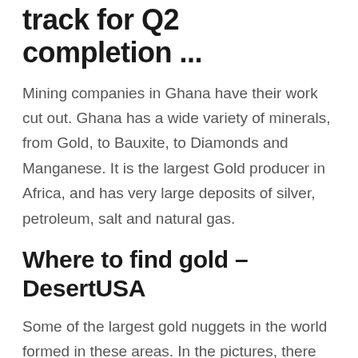track for Q2 completion ...
Mining companies in Ghana have their work cut out. Ghana has a wide variety of minerals, from Gold, to Bauxite, to Diamonds and Manganese. It is the largest Gold producer in Africa, and has very large deposits of silver, petroleum, salt and natural gas.
Where to find gold - DesertUSA
Some of the largest gold nuggets in the world formed in these areas. In the pictures, there can be seen a lot of blocky areas, this is actually because for each miner it was assigned a 2mx2m area. People would just dig down (because that’s all they could do).